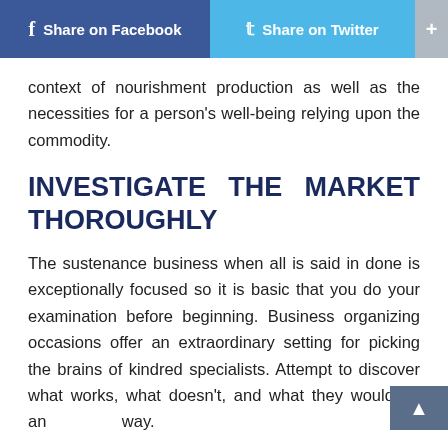f Share on Facebook   Share on Twitter   +
context of nourishment production as well as the necessities for a person's well-being relying upon the commodity.
INVESTIGATE THE MARKET THOROUGHLY
The sustenance business when all is said in done is exceptionally focused so it is basic that you do your examination before beginning. Business organizing occasions offer an extraordinary setting for picking the brains of kindred specialists. Attempt to discover what works, what doesn't, and what they would do any way.